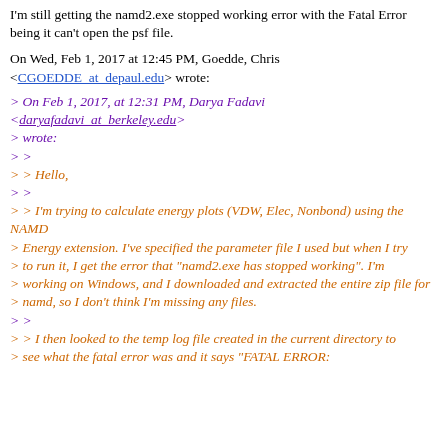I'm still getting the namd2.exe stopped working error with the Fatal Error being it can't open the psf file.
On Wed, Feb 1, 2017 at 12:45 PM, Goedde, Chris <CGOEDDE_at_depaul.edu> wrote:
> On Feb 1, 2017, at 12:31 PM, Darya Fadavi <daryafadavi_at_berkeley.edu> wrote:
> >
> > Hello,
> >
> > I'm trying to calculate energy plots (VDW, Elec, Nonbond) using the NAMD
> Energy extension. I've specified the parameter file I used but when I try
> to run it, I get the error that "namd2.exe has stopped working". I'm
> working on Windows, and I downloaded and extracted the entire zip file for
> namd, so I don't think I'm missing any files.
> >
> > I then looked to the temp log file created in the current directory to
> see what the fatal error was and it says "FATAL ERROR: